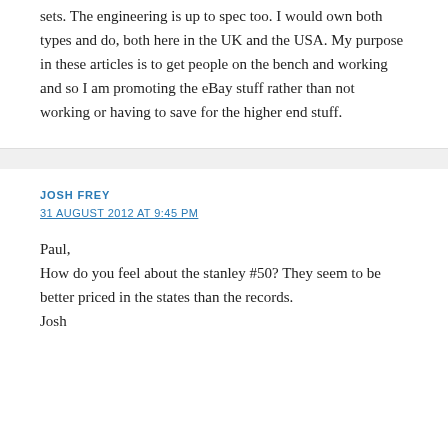sets. The engineering is up to spec too. I would own both types and do, both here in the UK and the USA. My purpose in these articles is to get people on the bench and working and so I am promoting the eBay stuff rather than not working or having to save for the higher end stuff.
JOSH FREY
31 AUGUST 2012 AT 9:45 PM
Paul,
How do you feel about the stanley #50? They seem to be better priced in the states than the records.
Josh